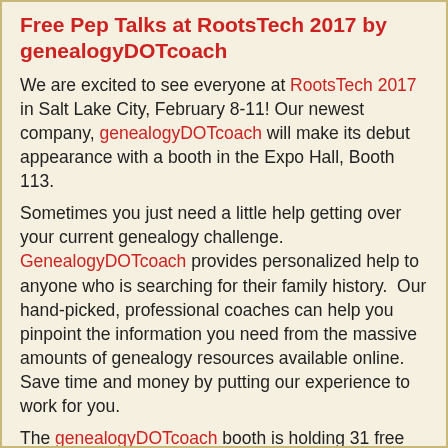Free Pep Talks at RootsTech 2017 by genealogyDOTcoach
We are excited to see everyone at RootsTech 2017 in Salt Lake City, February 8-11!  Our newest company, genealogyDOTcoach will make its debut appearance with a booth in the Expo Hall, Booth 113.
Sometimes you just need a little help getting over your current genealogy challenge.  GenealogyDOTcoach provides personalized help to anyone who is searching for their family history.  Our hand-picked, professional coaches can help you pinpoint the information you need from the massive amounts of genealogy resources available online.  Save time and money by putting our experience to work for you.
The genealogyDOTcoach booth is holding 31 free demo lectures (we're calling them "Pep Talks"!) throughout every day of RootsTech. See below for the Pep Talk speaking schedule for 12 of 26 coaches from genealogyDOTcoach. Stop by, say hi, listen to some free tips, and meet a coach!